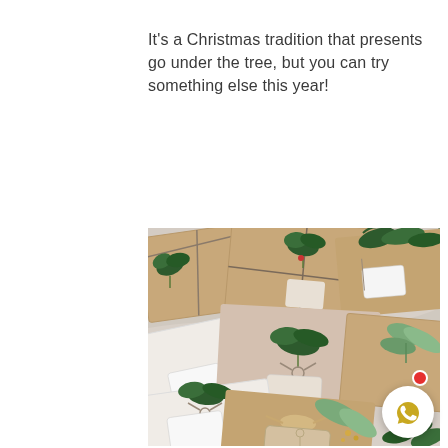It's a Christmas tradition that presents go under the tree, but you can try something else this year!
[Figure (photo): Overhead flat-lay photo of multiple Christmas gifts wrapped in kraft brown paper and white paper, decorated with green sprigs, eucalyptus leaves, twine bows, and blank gift tags, arranged on a marble surface.]